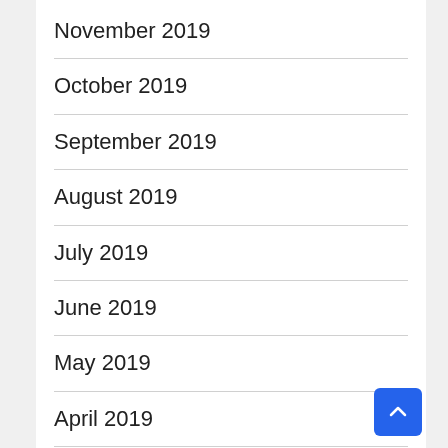November 2019
October 2019
September 2019
August 2019
July 2019
June 2019
May 2019
April 2019
March 2019